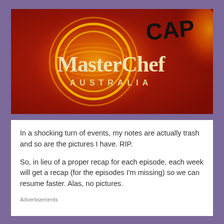[Figure (photo): MasterChef Australia banner image with red/orange flame background and golden circular design, white text reading 'MasterChef AUSTRALIA', with black handwritten text 'CAP' overlaid at the top right]
In a shocking turn of events, my notes are actually trash and so are the pictures I have. RIP.
So, in lieu of a proper recap for each episode, each week will get a recap (for the episodes I'm missing) so we can resume faster. Alas, no pictures.
Advertisements